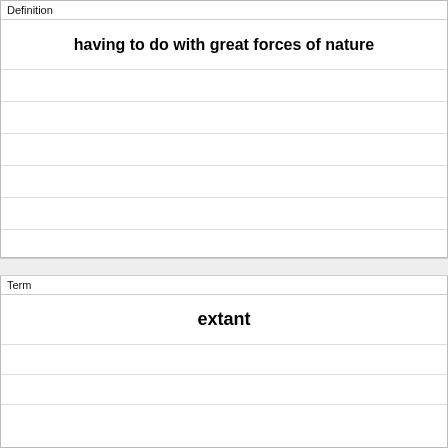| Definition |
| --- |
| having to do with great forces of nature |
|  |
|  |
|  |
|  |
|  |
|  |
|  |
| Term |
| --- |
| extant |
|  |
|  |
|  |
|  |
|  |